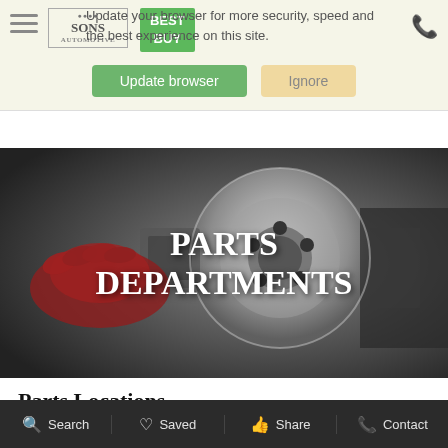Update your browser for more security, speed and the best experience on this site.
[Figure (screenshot): Browser update notification bar with hamburger menu, Sons logo, Best Buy badge, Update browser button (green), Ignore button (tan), and phone icon]
[Figure (photo): Mechanic's red-gloved hands working on a car brake disc rotor, with text overlay 'PARTS DEPARTMENTS' in white bold serif font]
Parts Locations
Search   Saved   Share   Contact